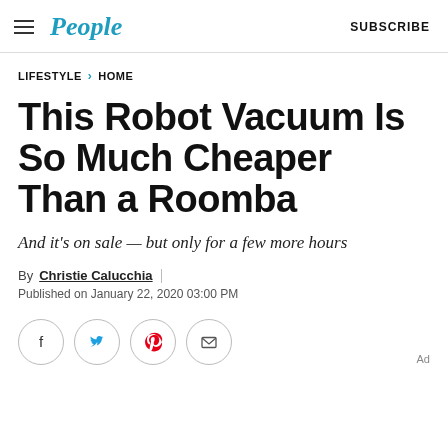People | SUBSCRIBE
LIFESTYLE > HOME
This Robot Vacuum Is So Much Cheaper Than a Roomba
And it's on sale — but only for a few more hours
By Christie Calucchia
Published on January 22, 2020 03:00 PM
[Figure (other): Social sharing icons: Facebook, Twitter, Pinterest, Email]